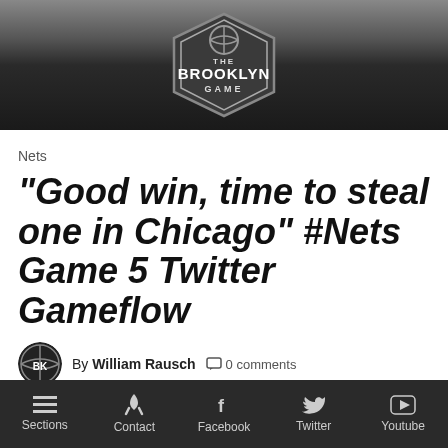[Figure (logo): The Brooklyn Game logo — circular basketball design with 'THE BROOKLYN GAME' text in a badge shape]
Nets
“Good win, time to steal one in Chicago” #Nets Game 5 Twitter Gameflow
By William Rausch   0 comments   Posted on April 30, 2013
[Figure (other): Social share buttons: Facebook (blue), Twitter (light blue), Google+ (red)]
Sections   Contact   Facebook   Twitter   Youtube